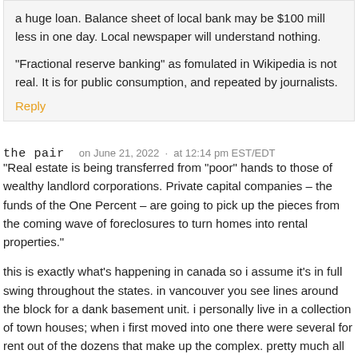a huge loan. Balance sheet of local bank may be $100 mill less in one day. Local newspaper will understand nothing.
“Fractional reserve banking” as fomulated in Wikipedia is not real. It is for public consumption, and repeated by journalists.
Reply
the pair   on June 21, 2022 · at 12:14 pm EST/EDT
“Real estate is being transferred from “poor” hands to those of wealthy landlord corporations. Private capital companies – the funds of the One Percent – are going to pick up the pieces from the coming wave of foreclosures to turn homes into rental properties.”
this is exactly what's happening in canada so i assume it's in full swing throughout the states. in vancouver you see lines around the block for a dank basement unit. i personally live in a collection of town houses; when i first moved into one there were several for rent out of the dozens that make up the complex. pretty much all of them – including the one i moved out of – have been sold by the owners to cash in on the insane housing bubble.